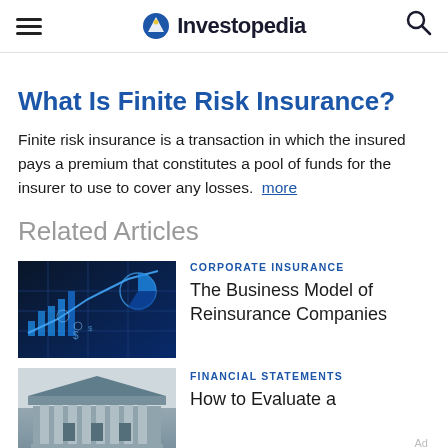Investopedia
What Is Finite Risk Insurance?
Finite risk insurance is a transaction in which the insured pays a premium that constitutes a pool of funds for the insurer to use to cover any losses. more
Related Articles
[Figure (photo): Blue digital financial charts and graphs illustration]
CORPORATE INSURANCE
The Business Model of Reinsurance Companies
[Figure (photo): Classical stone building with columns, stock exchange exterior]
FINANCIAL STATEMENTS
How to Evaluate a